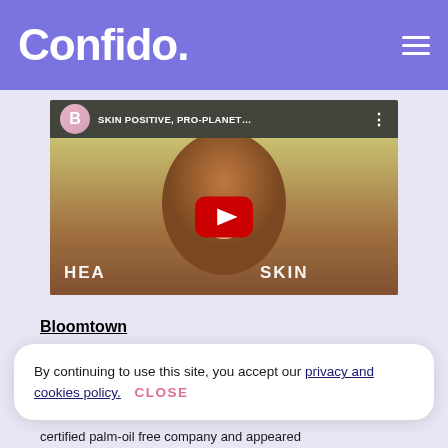Confido.
[Figure (screenshot): YouTube video thumbnail showing a smiling person, with channel icon showing 'B', title 'SKIN POSITIVE, PRO-PLANET...' and text overlay 'HEALTHY SKIN' with YouTube play button]
Bloomtown
By continuing to use this site, you accept our privacy and cookies policy.  CLOSE
certified palm-oil free company and appeared